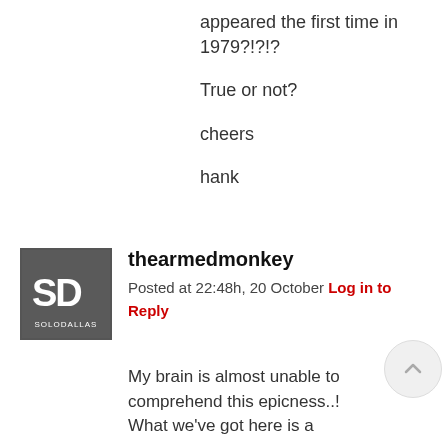appeared the first time in 1979?!?!?
True or not?
cheers
hank
[Figure (logo): SoloDallas logo - grey square with SD letters and SOLODALLAS text]
thearmedmonkey
Posted at 22:48h, 20 October Log in to Reply
My brain is almost unable to comprehend this epicness..! What we've got here is a